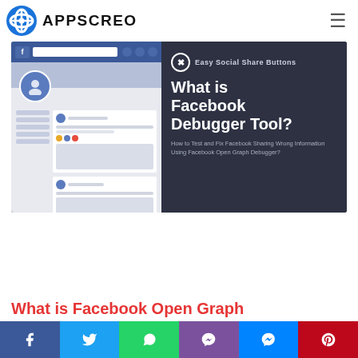APPSCREO
[Figure (screenshot): Banner image for blog post about Facebook Debugger Tool. Left side shows a mockup of a Facebook profile page UI (gray/blue tones). Right side on dark background shows: Easy Social Share Buttons logo and text, large white bold text 'What is Facebook Debugger Tool?', subtitle 'How to Test and Fix Facebook Sharing Wrong Information Using Facebook Open Graph Debugger?']
What is Facebook Open Graph
Facebook share | Twitter share | WhatsApp share | Viber share | Messenger share | Pinterest share